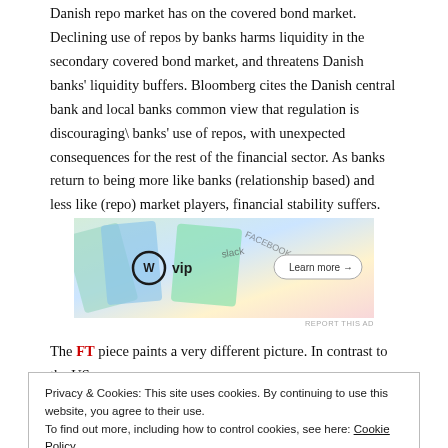Danish repo market has on the covered bond market. Declining use of repos by banks harms liquidity in the secondary covered bond market, and threatens Danish banks' liquidity buffers. Bloomberg cites the Danish central bank and local banks common view that regulation is discouraging\ banks' use of repos, with unexpected consequences for the rest of the financial sector. As banks return to being more like banks (relationship based) and less like (repo) market players, financial stability suffers.
[Figure (other): WordPress VIP advertisement banner with colorful background showing social media platform names and a 'Learn more' button]
The FT piece paints a very different picture. In contrast to the US,
Privacy & Cookies: This site uses cookies. By continuing to use this website, you agree to their use.
To find out more, including how to control cookies, see here: Cookie Policy
Close and accept
ECB, who charges banks on their reserve accounts, and thus distorts